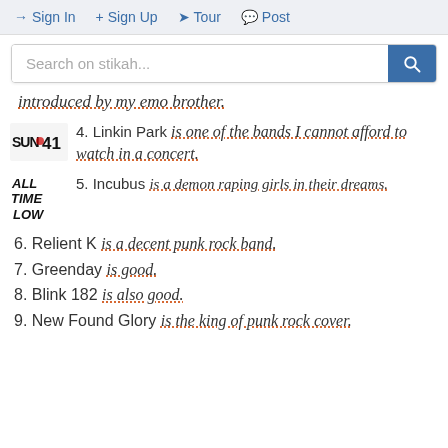Sign In  Sign Up  Tour  Post
Search on stikah...
introduced by my emo brother.
4. Linkin Park is one of the bands I cannot afford to watch in a concert.
5. Incubus is a demon raping girls in their dreams.
6. Relient K is a decent punk rock band.
7. Greenday is good.
8. Blink 182 is also good.
9. New Found Glory is the king of punk rock cover.